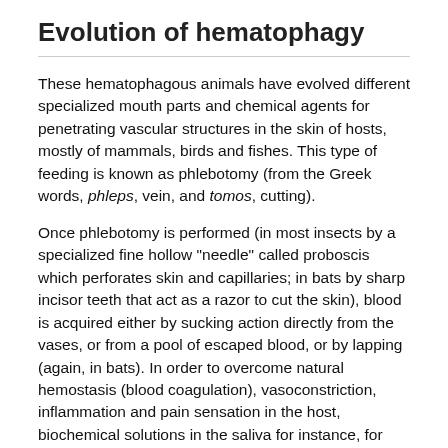Evolution of hematophagy
These hematophagous animals have evolved different specialized mouth parts and chemical agents for penetrating vascular structures in the skin of hosts, mostly of mammals, birds and fishes. This type of feeding is known as phlebotomy (from the Greek words, phleps, vein, and tomos, cutting).
Once phlebotomy is performed (in most insects by a specialized fine hollow "needle" called proboscis which perforates skin and capillaries; in bats by sharp incisor teeth that act as a razor to cut the skin), blood is acquired either by sucking action directly from the vases, or from a pool of escaped blood, or by lapping (again, in bats). In order to overcome natural hemostasis (blood coagulation), vasoconstriction, inflammation and pain sensation in the host, biochemical solutions in the saliva for instance, for pre-injection, anesthesia and capillary dilation have evolved in different hematophagous...